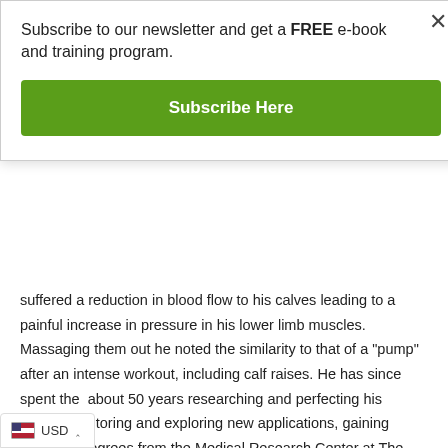Subscribe to our newsletter and get a FREE e-book and training program.
Subscribe Here
suffered a reduction in blood flow to his calves leading to a painful increase in pressure in his lower limb muscles. Massaging them out he noted the similarity to that of a "pump" after an intense workout, including calf raises. He has since spent the  about 50 years researching and perfecting his methods, tutoring and exploring new applications, gaining honorary degrees from the Medical Research Center at The University of Tokyo among others.
In that time, the training techniques and its application have developed rapidly, and it's now used bodybuilding, rehab and medical interventions
USD